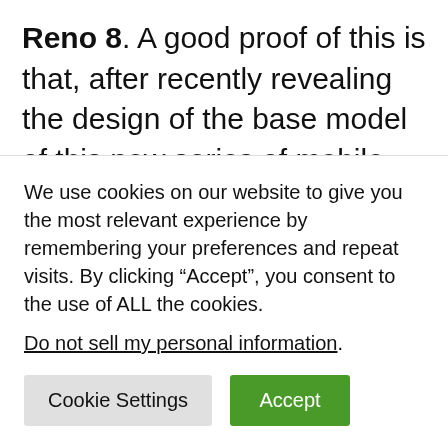Reno 8. A good proof of this is that, after recently revealing the design of the base model of this new series of mobile devices from the Chinese firm, the OPPO Reno 8, which is identical to the long-awaited OnePlus 10, now, thanks to information published in the GSMArena medium we can confirm the official launch date of the new OPPO Reno 8 series. The OPPO Reno 8 will
We use cookies on our website to give you the most relevant experience by remembering your preferences and repeat visits. By clicking “Accept”, you consent to the use of ALL the cookies.
Do not sell my personal information.